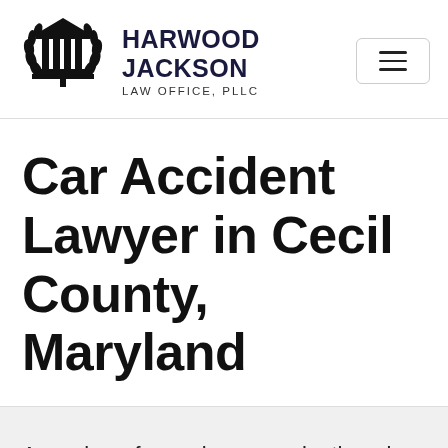[Figure (logo): Harwood Jackson Law Office PLLC logo with courthouse/pillars and laurel wreath emblem]
HARWOOD JACKSON
LAW OFFICE, PLLC
Car Accident Lawyer in Cecil County, Maryland
A number of experiences make the mix of anxiety, confusion, and stress that outcomes from a car accident. Outcomes have at the